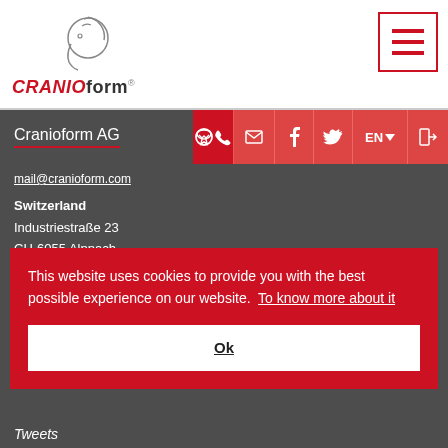[Figure (logo): Cranioform AG logo with head silhouette graphic and CRANIOFORM text in red and dark grey]
[Figure (other): Hamburger menu button with three horizontal red lines inside a red border square]
Cranioform AG
mail@cranioform.com
Switzerland
Industriestraße 23
CH-6055 Alpnach
This website uses cookies to provide you with the best possible experience on our website.  To know more about it
Ok
Tweets